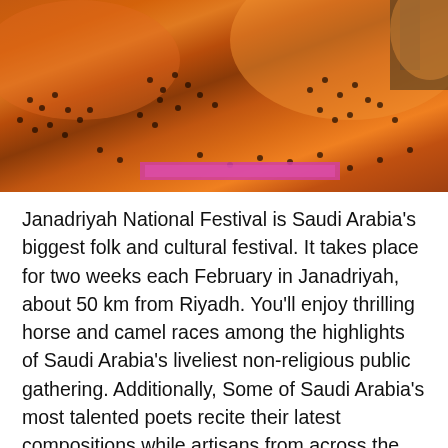[Figure (photo): Aerial view of a festival crowd at night with orange/red lighting, people gathered in an open square area]
Janadriyah National Festival is Saudi Arabia's biggest folk and cultural festival. It takes place for two weeks each February in Janadriyah, about 50 km from Riyadh. You'll enjoy thrilling horse and camel races among the highlights of Saudi Arabia's liveliest non-religious public gathering. Additionally, Some of Saudi Arabia's most talented poets recite their latest compositions while artisans from across the country sell and display their crafts.